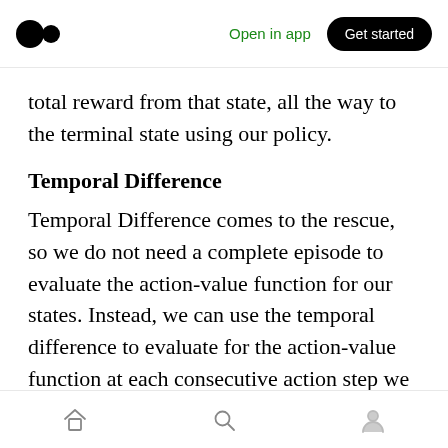Open in app | Get started
total reward from that state, all the way to the terminal state using our policy.
Temporal Difference
Temporal Difference comes to the rescue, so we do not need a complete episode to evaluate the action-value function for our states. Instead, we can use the temporal difference to evaluate for the action-value function at each consecutive action step we take during our episode.
We call this SARSA (State, Action Reward, State(next), Action(next))
Home | Search | Profile